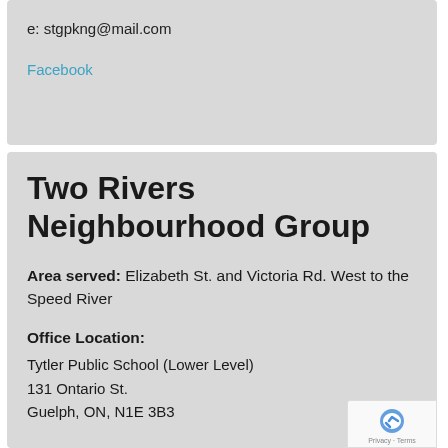e: stgpkng@mail.com
Facebook
Two Rivers Neighbourhood Group
Area served: Elizabeth St. and Victoria Rd. West to the Speed River
Office Location:
Tytler Public School (Lower Level)
131 Ontario St.
Guelph, ON, N1E 3B3